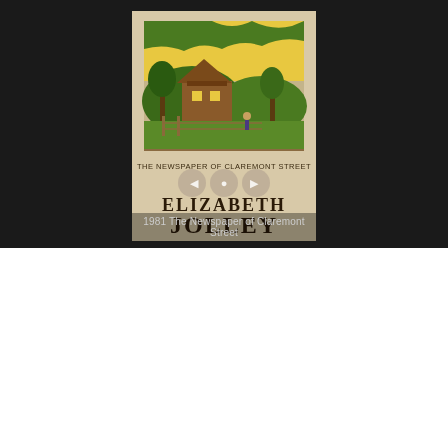[Figure (illustration): Book cover of 'The Newspaper of Claremont Street' by Elizabeth Jolley (1981), shown inside a dark rounded-rectangle carousel widget. The cover features a woodcut-style illustration of a rural scene with a house, trees, and landscape. Overlay text reads '1981 The Newspaper of Claremont Street'.]
Short Stories
Woman in a Lampshade (1983)
see the table of contents at Middlemiss
See Lisa's ANZ LitLovers review of the Penguin Special edition of 'Adam's Bride' from this collection